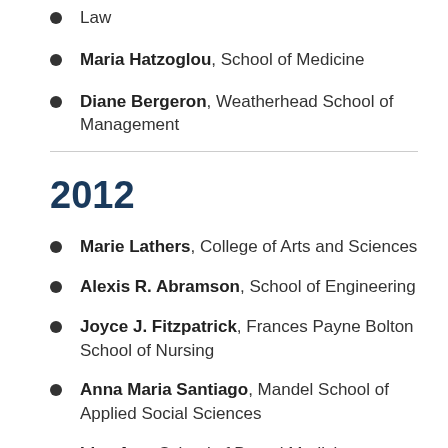Law
Maria Hatzoglou, School of Medicine
Diane Bergeron, Weatherhead School of Management
2012
Marie Lathers, College of Arts and Sciences
Alexis R. Abramson, School of Engineering
Joyce J. Fitzpatrick, Frances Payne Bolton School of Nursing
Anna Maria Santiago, Mandel School of Applied Social Sciences
Lisa A. ..., School of Dental Medici...